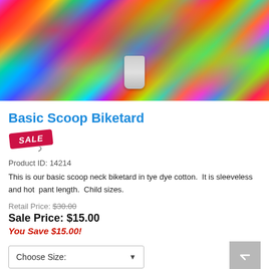[Figure (photo): Colorful tie dye fabric biketard product photo with bright multicolored pattern including pink, orange, yellow, green, blue, and purple tones.]
Basic Scoop Biketard
[Figure (other): Red sale tag graphic with 'SALE' text and a string/hook element.]
Product ID: 14214
This is our basic scoop neck biketard in tye dye cotton.  It is sleeveless and hot  pant length.  Child sizes.
Retail Price: $30.00
Sale Price: $15.00
You Save $15.00!